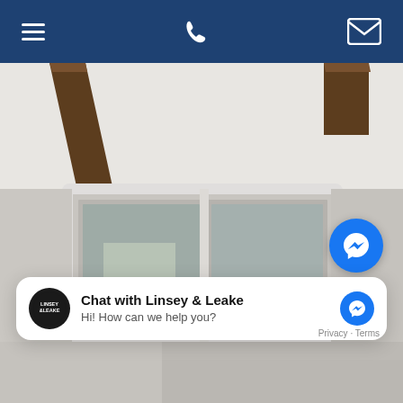[Figure (screenshot): Mobile website navigation bar with dark blue background showing hamburger menu icon on left, phone icon in center, and envelope/email icon on right]
[Figure (photo): Interior room photo showing white ceiling with dark wooden exposed beams and white-framed double glass french doors leading to an outdoor area]
[Figure (other): Facebook Messenger floating chat button (blue circle with messenger lightning bolt icon)]
Chat with Linsey & Leake
Hi! How can we help you?
Privacy · Terms